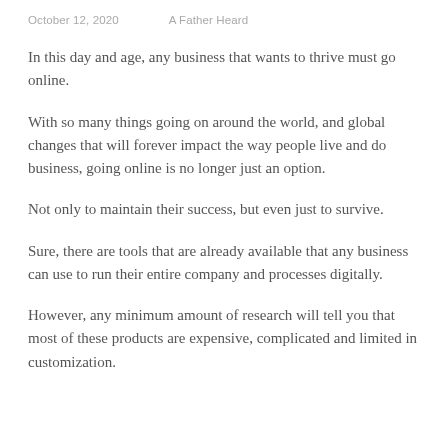October 12, 2020   A Father Heard
In this day and age, any business that wants to thrive must go online.
With so many things going on around the world, and global changes that will forever impact the way people live and do business, going online is no longer just an option.
Not only to maintain their success, but even just to survive.
Sure, there are tools that are already available that any business can use to run their entire company and processes digitally.
However, any minimum amount of research will tell you that most of these products are expensive, complicated and limited in customization.